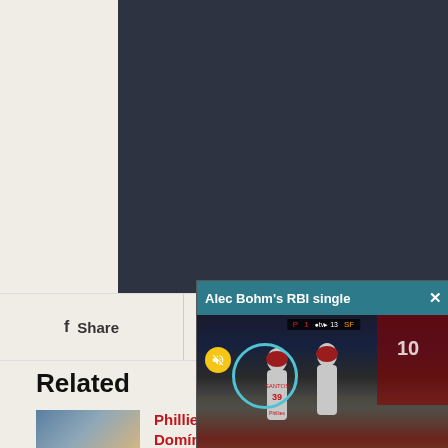[Figure (screenshot): Video player area with dark background at top of page]
Share
Tweet
Related
[Figure (screenshot): Alec Bohm's RBI single popup video player showing baseball players including #39 Santos on field, with mute button and circle overlay, header in teal]
Phillies Nugg... Domínguez a...